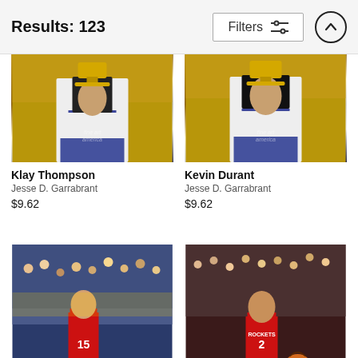Results: 123
Filters
[Figure (photo): Klay Thompson holding the NBA Championship trophy, cropped to show lower body, gold background, Jesse D. Garrabrant photo, Fine Art America watermark]
Klay Thompson
Jesse D. Garrabrant
$9.62
[Figure (photo): Kevin Durant holding the NBA Championship trophy, cropped to show lower body, gold background, Jesse D. Garrabrant photo, Fine Art America watermark]
Kevin Durant
Jesse D. Garrabrant
$9.62
[Figure (photo): Houston Rockets player #15 standing on court with crowd and Golden State Warriors fans in background]
[Figure (photo): Houston Rockets player #2 dribbling basketball on court with crowd in background]